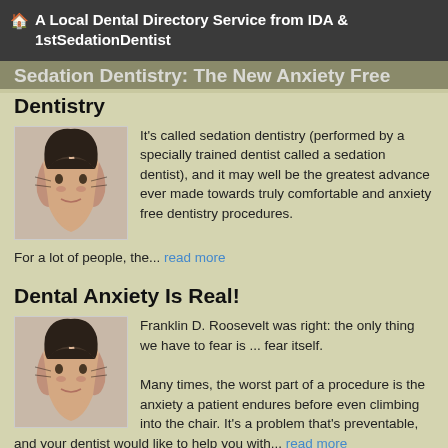A Local Dental Directory Service from IDA & 1stSedationDentist
Sedation Dentistry: The New Anxiety Free Dentistry
It's called sedation dentistry (performed by a specially trained dentist called a sedation dentist), and it may well be the greatest advance ever made towards truly comfortable and anxiety free dentistry procedures.
For a lot of people, the... read more
Dental Anxiety Is Real!
Franklin D. Roosevelt was right: the only thing we have to fear is ... fear itself.

Many times, the worst part of a procedure is the anxiety a patient endures before even climbing into the chair. It's a problem that's preventable, and your dentist would like to help you with... read more